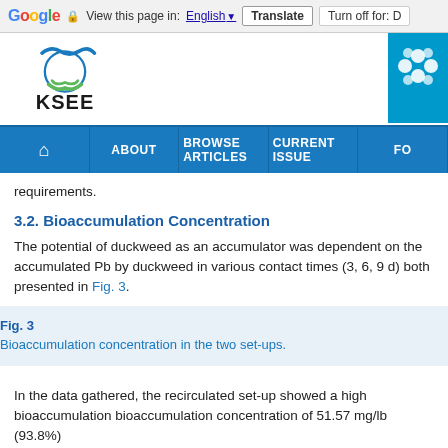Google | View this page in: English [▼] | Translate | Turn off for: D
[Figure (logo): KSEE journal logo with blue wave/hands icon and green hands below, text KSEE]
[Figure (logo): Teal square logo on right side with flower/snowflake pattern]
Navigation bar: Home | ABOUT | BROWSE ARTICLES | CURRENT ISSUE | FO...
requirements.
3.2. Bioaccumulation Concentration
The potential of duckweed as an accumulator was dependent on the accumulated Pb by duckweed in various contact times (3, 6, 9 d) both presented in Fig. 3.
Fig. 3
Bioaccumulation concentration in the two set-ups.
In the data gathered, the recirculated set-up showed a high bioaccumulation bioaccumulation concentration of 51.57 mg/lb (93.8%)